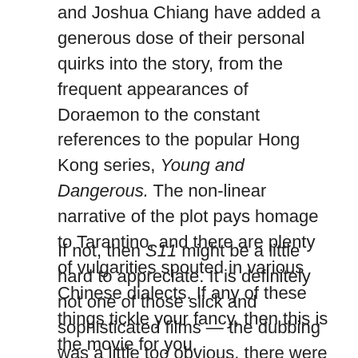and Joshua Chiang have added a generous dose of their personal quirks into the story, from the frequent appearances of Doraemon to the constant references to the popular Hong Kong series, Young and Dangerous. The non-linear narrative of the plot pays homage to Tarantino, and there are plenty of vulgarities spouted in various Chinese dialects. If any of these things tickle your fancy, then this is the movie for you.
If not, then S11 might be a little hard to appreciate. It is definitely not one of those slick and sophisticated films — the dubbing was a little too obvious, there were parts where the film quality got a bit wonky and the dialogue seemed to drag at times. But despite all these rookie qualities (and the fact that I have a slight aversion for Doraemon), I found S11 to be...